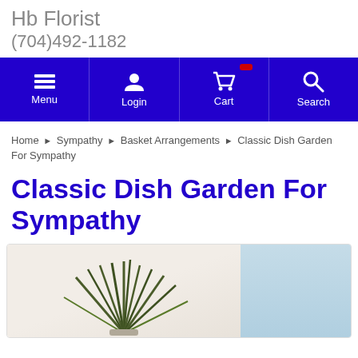Hb Florist
(704)492-1182
[Figure (screenshot): Navigation bar with Menu, Login, Cart, and Search icons on dark blue background]
Home ▶ Sympathy ▶ Basket Arrangements ▶ Classic Dish Garden For Sympathy
Classic Dish Garden For Sympathy
[Figure (photo): Product photo of a dish garden arrangement with green spiky plants, partially visible, against a light marble-textured background and light blue panel on the right]